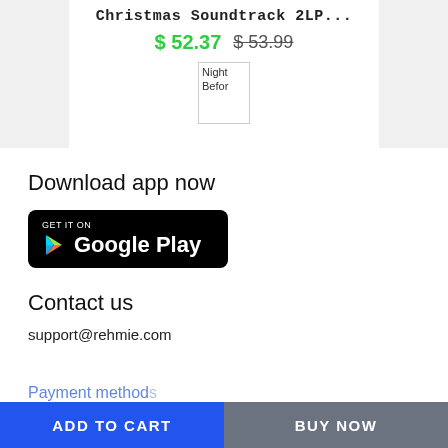Christmas Soundtrack 2LP...
$ 52.37  $ 53.99
[Figure (screenshot): A partially visible product thumbnail showing text 'Night Before']
Download app now
[Figure (logo): Google Play store badge — black rounded rectangle with GET IT ON Google Play text and Play triangle logo]
Contact us
support@rehmie.com
Payment methods
ADD TO CART
BUY NOW